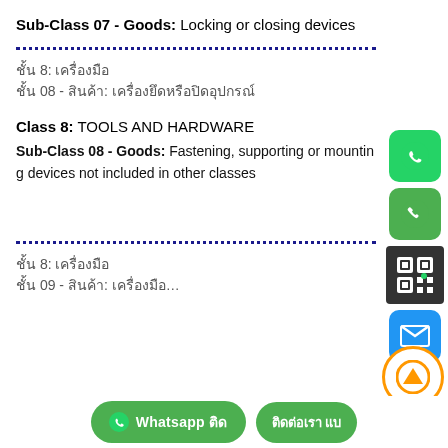Sub-Class 07 - Goods: Locking or closing devices
ชั้น 8: เครื่องมือ
ชั้น 08 - สินค้า: เครื่องยึดติดหรือรองรับ
Class 8: TOOLS AND HARDWARE
Sub-Class 08 - Goods: Fastening, supporting or mounting devices not included in other classes
ชั้น 8: เครื่องมือ
ชั้น 09 - สินค้า: เครื่องมือ